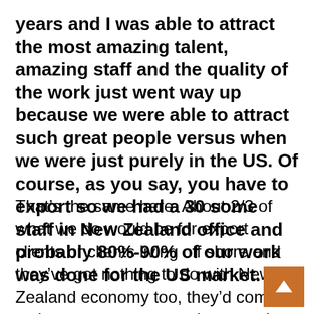years and I was able to attract the most amazing talent, amazing staff and the quality of the work just went way up because we were able to attract such great people versus when we were just purely in the US. Of course, as you say, you have to export so we had a 30 some staff in New Zealand office and probably 80%-90% of our work was done for the US market.
That's the same here. About 2/3 of what we do would be for export clients or clients living off shore and they've got nothing to do with New Zealand economy too, they'd come to us because we are now in a certain categories. Coming back to talent thing, I think that the